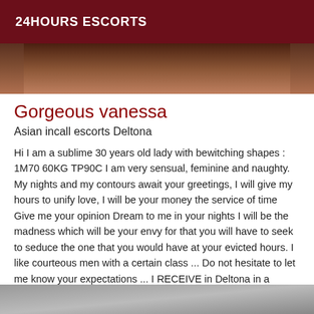24HOURS ESCORTS
[Figure (photo): Top portion of a person photo, cropped, dark tones]
Gorgeous vanessa
Asian incall escorts Deltona
Hi I am a sublime 30 years old lady with bewitching shapes : 1M70 60KG TP90C I am very sensual, feminine and naughty. My nights and my contours await your greetings, I will give my hours to unify love, I will be your money the service of time Give me your opinion Dream to me in your nights I will be the madness which will be your envy for that you will have to seek to seduce the one that you would have at your evicted hours. I like courteous men with a certain class ... Do not hesitate to let me know your expectations ... I RECEIVE in Deltona in a pleasant and discreet setting or MOVE at your convenience for 1H or MORE... Tender Kisses Vanessa
[Figure (photo): Bottom partial photo, cropped, partially visible]